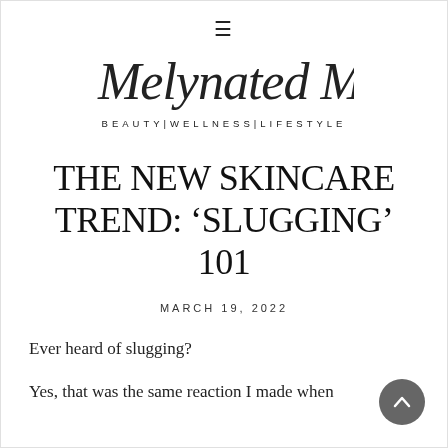≡
[Figure (logo): Melynated Muse cursive script logo with tagline BEAUTY|WELLNESS|LIFESTYLE]
THE NEW SKINCARE TREND: 'SLUGGING' 101
MARCH 19, 2022
Ever heard of slugging?
Yes, that was the same reaction I made when